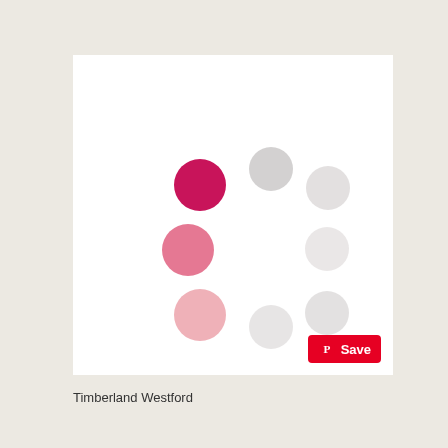[Figure (other): Loading spinner animation with colored dots arranged in a circular pattern. Dark pink/red dot at upper left, lighter pink dot in middle left, light pink dot lower left, and grey dots of varying opacity on the right side forming an arc or spinner pattern on white background. A red Pinterest Save button is in the bottom right corner.]
Timberland Westford